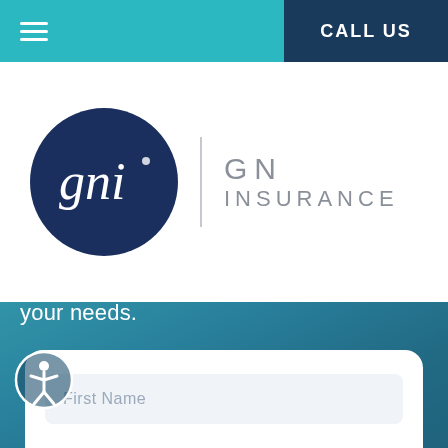≡   CALL US
[Figure (logo): GN Insurance logo: dark navy circle with cursive 'gni' text, next to vertical divider and 'GN INSURANCE' text in gray]
Our expert advisors are ready to asses your needs.
Call Us 361-288-8181 »
First Name